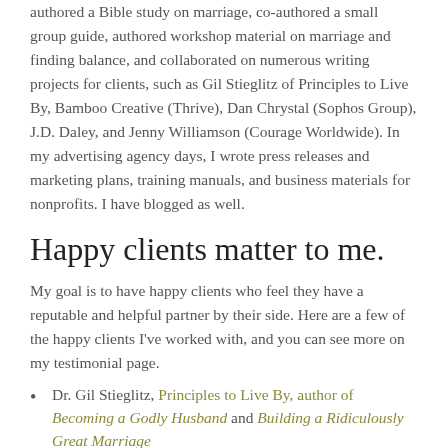authored a Bible study on marriage, co-authored a small group guide, authored workshop material on marriage and finding balance, and collaborated on numerous writing projects for clients, such as Gil Stieglitz of Principles to Live By, Bamboo Creative (Thrive), Dan Chrystal (Sophos Group), J.D. Daley, and Jenny Williamson (Courage Worldwide). In my advertising agency days, I wrote press releases and marketing plans, training manuals, and business materials for nonprofits. I have blogged as well.
Happy clients matter to me.
My goal is to have happy clients who feel they have a reputable and helpful partner by their side. Here are a few of the happy clients I've worked with, and you can see more on my testimonial page.
Dr. Gil Stieglitz, Principles to Live By, author of Becoming a Godly Husband and Building a Ridiculously Great Marriage
Jenny Williamson, Courage Worldwide, author of Do You Have the Courage to Be You?
Justin Marr, Lexham Press/Faithlife